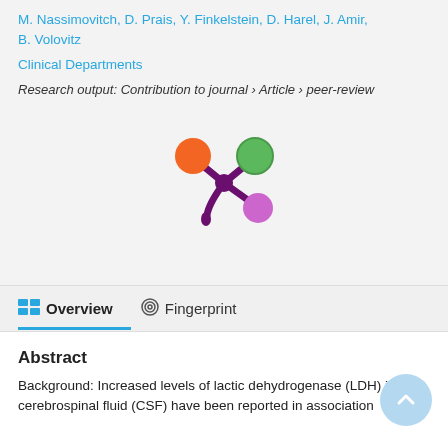M. Nassimovitch, D. Prais, Y. Finkelstein, D. Harel, J. Amir, B. Volovitz
Clinical Departments
Research output: Contribution to journal › Article › peer-review
[Figure (logo): Altmetric or research metrics logo with orange, green, and purple colored circles on dark purple stem/branch shape]
Overview   Fingerprint
Abstract
Background: Increased levels of lactic dehydrogenase (LDH) in the cerebrospinal fluid (CSF) have been reported in association